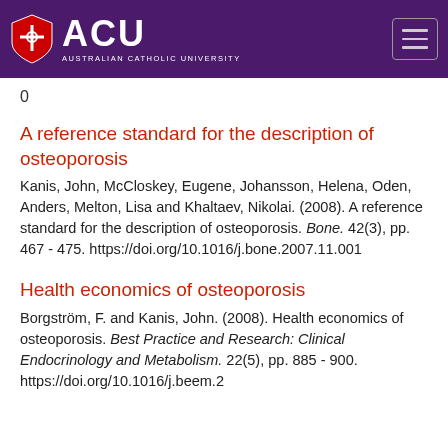ACU - Australian Catholic University
0
A reference standard for the description of osteoporosis
Kanis, John, McCloskey, Eugene, Johansson, Helena, Oden, Anders, Melton, Lisa and Khaltaev, Nikolai. (2008). A reference standard for the description of osteoporosis. Bone. 42(3), pp. 467 - 475. https://doi.org/10.1016/j.bone.2007.11.001
Health economics of osteoporosis
Borgström, F. and Kanis, John. (2008). Health economics of osteoporosis. Best Practice and Research: Clinical Endocrinology and Metabolism. 22(5), pp. 885 - 900. https://doi.org/10.1016/j.beem.2